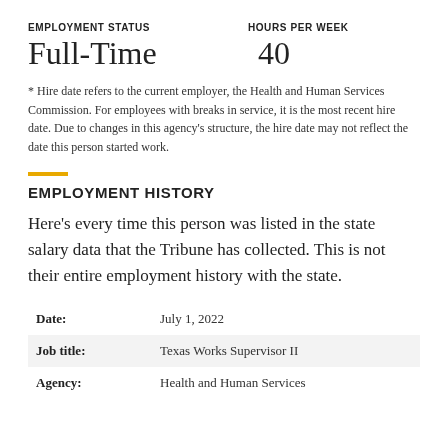EMPLOYMENT STATUS
HOURS PER WEEK
Full-Time
40
* Hire date refers to the current employer, the Health and Human Services Commission. For employees with breaks in service, it is the most recent hire date. Due to changes in this agency’s structure, the hire date may not reflect the date this person started work.
EMPLOYMENT HISTORY
Here’s every time this person was listed in the state salary data that the Tribune has collected. This is not their entire employment history with the state.
| Field | Value |
| --- | --- |
| Date: | July 1, 2022 |
| Job title: | Texas Works Supervisor II |
| Agency: | Health and Human Services |